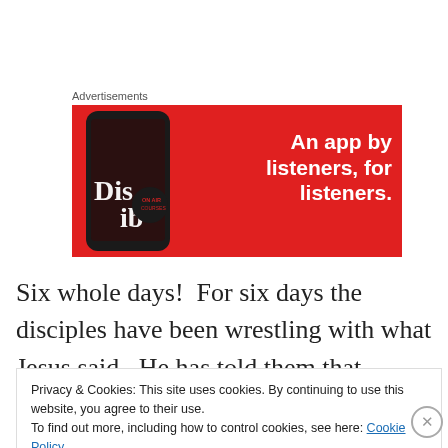Advertisements
[Figure (illustration): Red advertisement banner for a podcast/audio app showing a smartphone with 'Dis...ib' text and the slogan 'An app by listeners, for listeners.']
Six whole days!  For six days the disciples have been wrestling with what Jesus said.  He has told them that following him is not about riding into Jerusalem to the
Privacy & Cookies: This site uses cookies. By continuing to use this website, you agree to their use.
To find out more, including how to control cookies, see here: Cookie Policy
Close and accept